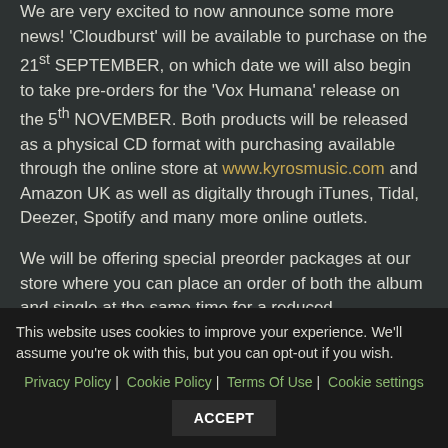We are very excited to now announce some more news! 'Cloudburst' will be available to purchase on the 21st SEPTEMBER, on which date we will also begin to take pre-orders for the 'Vox Humana' release on the 5th NOVEMBER. Both products will be released as a physical CD format with purchasing available through the online store at www.kyrosmusic.com and Amazon UK as well as digitally through iTunes, Tidal, Deezer, Spotify and many more online outlets.
We will be offering special preorder packages at our store where you can place an order of both the album and single at the same time for a reduced
This website uses cookies to improve your experience. We'll assume you're ok with this, but you can opt-out if you wish.
Privacy Policy | Cookie Policy | Terms Of Use | Cookie settings
ACCEPT